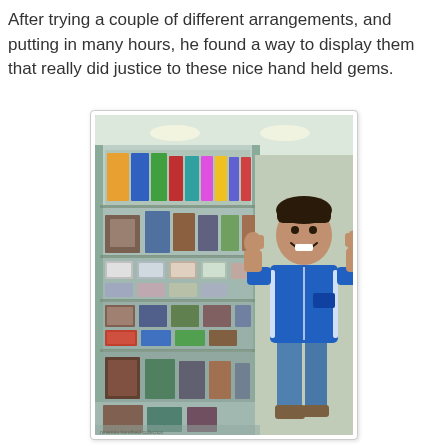After trying a couple of different arrangements, and putting in many hours, he found a way to display them that really did justice to these nice hand held gems.
[Figure (photo): A man in a blue hoodie standing next to a large glass display case filled with many handheld electronic games, giving two thumbs up]